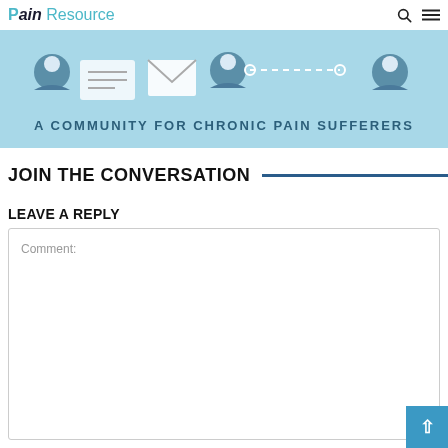Pain Resource
[Figure (illustration): A community banner with light blue background showing person icons, envelope icon, dotted line connecting icons, and text 'A COMMUNITY FOR CHRONIC PAIN SUFFERERS']
JOIN THE CONVERSATION
LEAVE A REPLY
Comment: